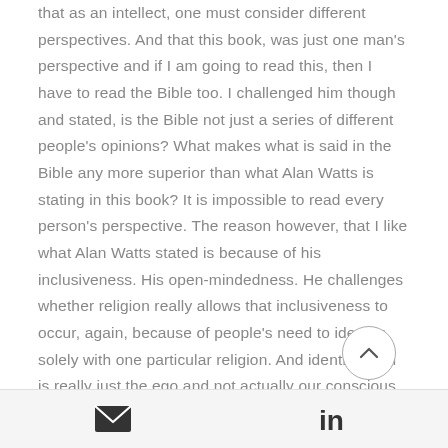that as an intellect, one must consider different perspectives. And that this book, was just one man's perspective and if I am going to read this, then I have to read the Bible too. I challenged him though and stated, is the Bible not just a series of different people's opinions? What makes what is said in the Bible any more superior than what Alan Watts is stating in this book? It is impossible to read every person's perspective. The reason however, that I like what Alan Watts stated is because of his inclusiveness. His open-mindedness. He challenges whether religion really allows that inclusiveness to occur, again, because of people's need to identify solely with one particular religion. And identification is really just the ego and not actually our conscious,
[Figure (other): Scroll-to-top circular button with upward chevron arrow]
Email share | LinkedIn share icons